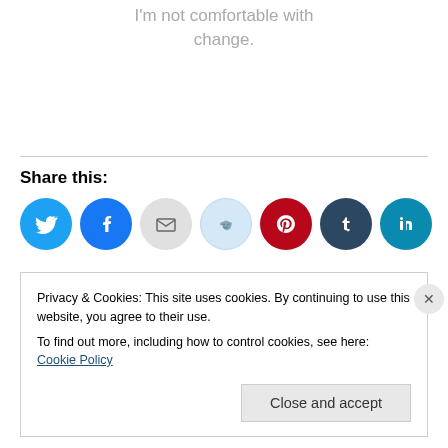I'm not comfortable with change.
Share this:
[Figure (infographic): Social media share icons: Twitter (blue), Facebook (blue), Email (gray), Reddit (light blue), Pinterest (red), Tumblr (dark navy), LinkedIn (teal)]
Privacy & Cookies: This site uses cookies. By continuing to use this website, you agree to their use. To find out more, including how to control cookies, see here: Cookie Policy
Close and accept